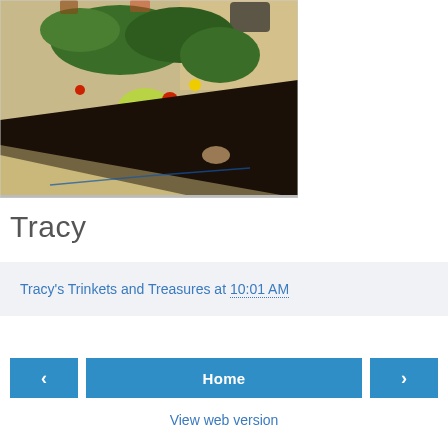[Figure (photo): A garden bed with colorful flowers including red, purple, and yellow blooms, green shrubs, and dark mulch alongside a concrete walkway near a brick wall.]
Tracy
Tracy's Trinkets and Treasures at 10:01 AM
‹   Home   ›
View web version